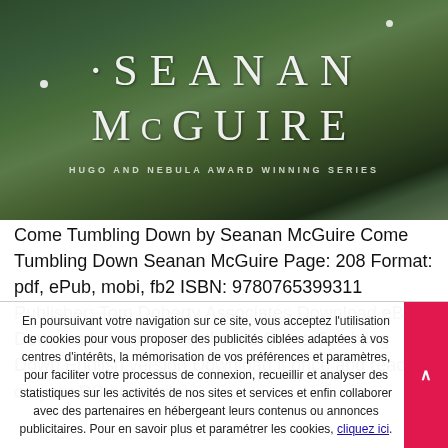[Figure (photo): Book cover image showing 'Seanan McGuire' author name in large serif letters on a dark forest/nature background with text 'Hugo and Nebula Award Winning Series' below]
Come Tumbling Down by Seanan McGuire Come Tumbling Down Seanan McGuire Page: 208 Format: pdf, ePub, mobi, fb2 ISBN: 9780765399311 Publisher: Tom Doherty Associates Download eBook Download electronic textbooks Come Tumbling Down English version Download it once and read it on your PC or mobile
En poursuivant votre navigation sur ce site, vous acceptez l'utilisation de cookies pour vous proposer des publicités ciblées adaptées à vos centres d'intérêts, la mémorisation de vos préférences et paramètres, pour faciliter votre processus de connexion, recueillir et analyser des statistiques sur les activités de nos sites et services et enfin collaborer avec des partenaires en hébergeant leurs contenus ou annonces publicitaires. Pour en savoir plus et paramétrer les cookies, cliquez ici.